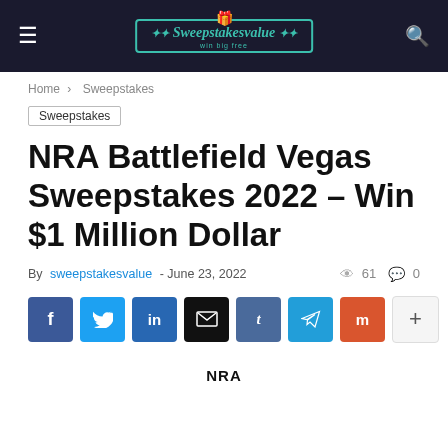Sweepstakesvalue — site header with navigation
Home › Sweepstakes
Sweepstakes
NRA Battlefield Vegas Sweepstakes 2022 – Win $1 Million Dollar
By sweepstakesvalue - June 23, 2022   61   0
[Figure (other): Social share buttons: Facebook, Twitter, LinkedIn, Email, Tumblr, Telegram, Mix, and more (+)]
NRA